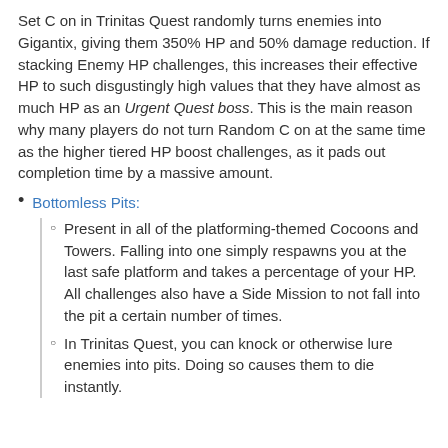Set C on in Trinitas Quest randomly turns enemies into Gigantix, giving them 350% HP and 50% damage reduction. If stacking Enemy HP challenges, this increases their effective HP to such disgustingly high values that they have almost as much HP as an Urgent Quest boss. This is the main reason why many players do not turn Random C on at the same time as the higher tiered HP boost challenges, as it pads out completion time by a massive amount.
Bottomless Pits:
Present in all of the platforming-themed Cocoons and Towers. Falling into one simply respawns you at the last safe platform and takes a percentage of your HP. All challenges also have a Side Mission to not fall into the pit a certain number of times.
In Trinitas Quest, you can knock or otherwise lure enemies into pits. Doing so causes them to die instantly.